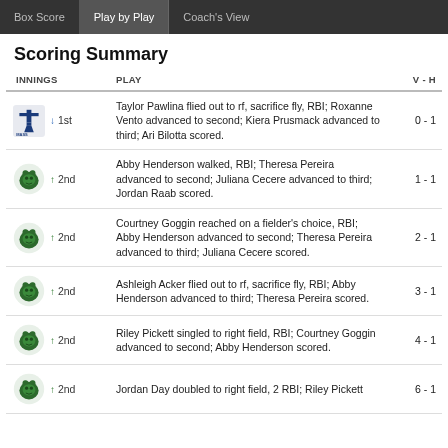Box Score | Play by Play | Coach's View
Scoring Summary
| INNINGS | PLAY | V - H |
| --- | --- | --- |
| ↓ 1st | Taylor Pawlina flied out to rf, sacrifice fly, RBI; Roxanne Vento advanced to second; Kiera Prusmack advanced to third; Ari Bilotta scored. | 0 - 1 |
| ↑ 2nd | Abby Henderson walked, RBI; Theresa Pereira advanced to second; Juliana Cecere advanced to third; Jordan Raab scored. | 1 - 1 |
| ↑ 2nd | Courtney Goggin reached on a fielder's choice, RBI; Abby Henderson advanced to second; Theresa Pereira advanced to third; Juliana Cecere scored. | 2 - 1 |
| ↑ 2nd | Ashleigh Acker flied out to rf, sacrifice fly, RBI; Abby Henderson advanced to third; Theresa Pereira scored. | 3 - 1 |
| ↑ 2nd | Riley Pickett singled to right field, RBI; Courtney Goggin advanced to second; Abby Henderson scored. | 4 - 1 |
| ↑ 2nd | Jordan Day doubled to right field, 2 RBI; Riley Pickett... | 6 - 1 |